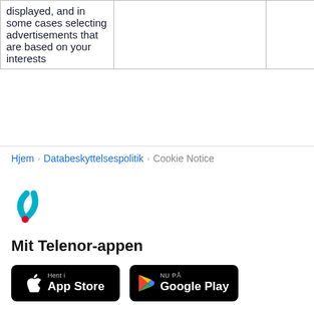| displayed, and in some cases selecting advertisements that are based on your interests |  |  |
Hjem > Databeskyttelsespolitik > Cookie Notice
[Figure (logo): Telenor logo - cyan/teal T-shape symbol]
Mit Telenor-appen
[Figure (screenshot): App Store and Google Play download buttons]